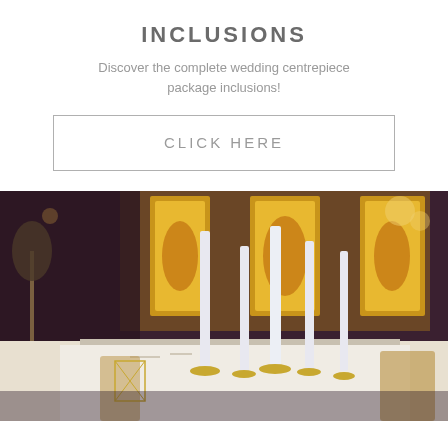INCLUSIONS
Discover the complete wedding centrepiece package inclusions!
CLICK HERE
[Figure (photo): Elegant wedding reception venue with tall white candles on gold candelabras on tables, ornate gold decorative panels illuminated in the background, with white tablecloths and gold chairs.]